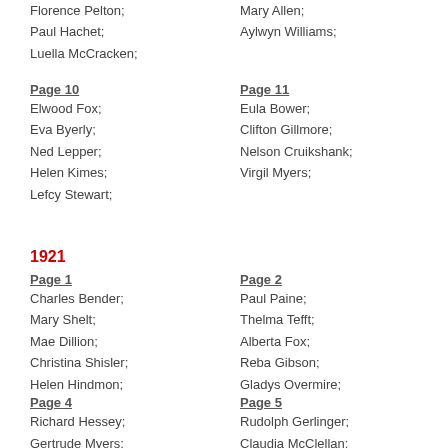Florence Pelton;
Paul Hachet;
Luella McCracken;
Mary Allen;
Aylwyn Williams;
Page 10
Elwood Fox;
Eva Byerly;
Ned Lepper;
Helen Kimes;
Lefcy Stewart;
Page 11
Eula Bower;
Clifton Gillmore;
Nelson Cruikshank;
Virgil Myers;
1921
Page 1
Charles Bender;
Mary Shelt;
Mae Dillion;
Christina Shisler;
Helen Hindmon;
Page 2
Paul Paine;
Thelma Tefft;
Alberta Fox;
Reba Gibson;
Gladys Overmire;
Page 4
Richard Hessey;
Gertrude Myers;
Page 5
Rudolph Gerlinger;
Claudia McClellan;